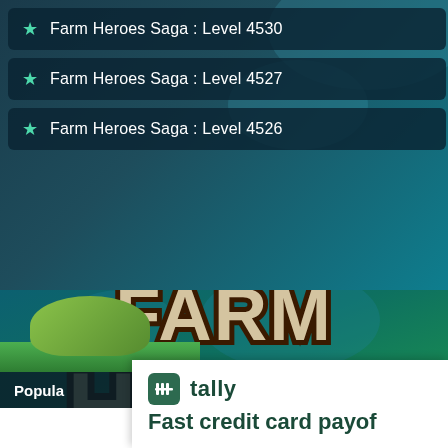Farm Heroes Saga : Level 4530
Farm Heroes Saga : Level 4527
Farm Heroes Saga : Level 4526
[Figure (screenshot): Farm Heroes Saga game logo with stylized 'FARM Heroes saga' text on a teal/dark blue background with clouds and cartoon farm character visible at bottom]
Popular
tally  Fast credit card payof